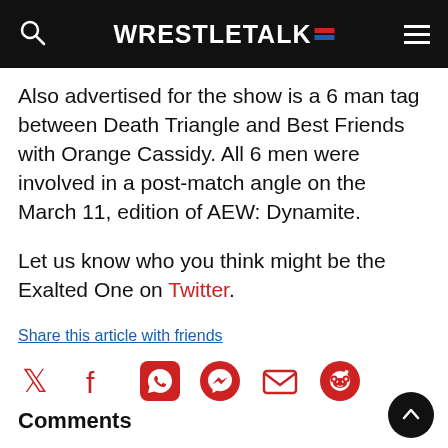WRESTLETALK
Also advertised for the show is a 6 man tag between Death Triangle and Best Friends with Orange Cassidy. All 6 men were involved in a post-match angle on the March 11, edition of AEW: Dynamite.
Let us know who you think might be the Exalted One on Twitter.
Share this article with friends
[Figure (other): Row of social media share icons: Twitter, Facebook, WhatsApp, Messenger, Email, Reddit]
Comments